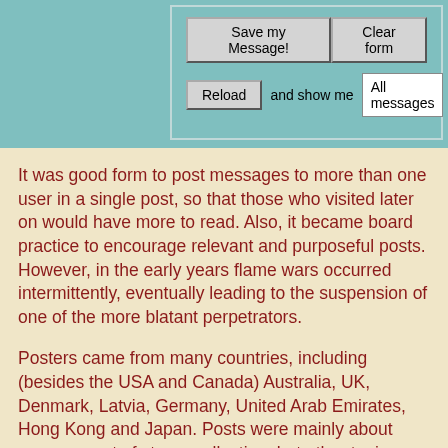[Figure (screenshot): A web form interface with a teal/cyan background showing two rows: top row has 'Save my Message!' button on left and 'Clear form' button on right; bottom row has 'Reload' button followed by 'and show me' label and an 'All messages' dropdown.]
It was good form to post messages to more than one user in a single post, so that those who visited later on would have more to read. Also, it became board practice to encourage relevant and purposeful posts. However, in the early years flame wars occurred intermittently, eventually leading to the suspension of one of the more blatant perpetrators.
Posters came from many countries, including (besides the USA and Canada) Australia, UK, Denmark, Latvia, Germany, United Arab Emirates, Hong Kong and Japan. Posts were mainly about some aspect of stamp collecting, but other topics were discussed regularly. Music was a topic guaranteed to "derail" the board. Friendships were formed between board regulars as a result of the mutual sharing of information that occurred.